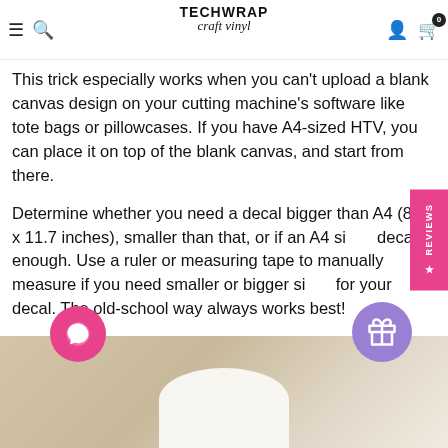TechWrap craft vinyl — navigation header
This trick especially works when you can't upload a blank canvas design on your cutting machine's software like tote bags or pillowcases. If you have A4-sized HTV, you can place it on top of the blank canvas, and start from there.
Determine whether you need a decal bigger than A4 (8.3 x 11.7 inches), smaller than that, or if an A4 sized decal is enough. Use a ruler or measuring tape to manually measure if you need smaller or bigger sizes for your decal. The old-school way always works best!
[Figure (photo): Bottom portion of a webpage showing a beige/tan fabric background with a white pillow visible at bottom center, partially cut off]